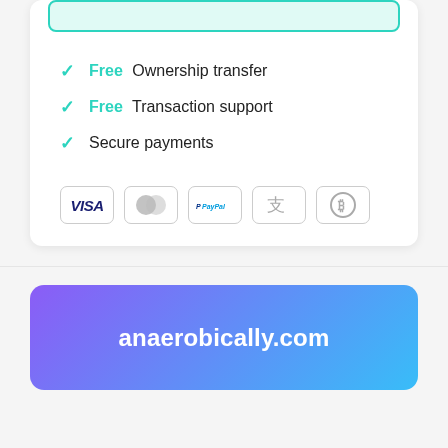✓ Free Ownership transfer
✓ Free Transaction support
✓ Secure payments
[Figure (infographic): Payment method icons: VISA, Mastercard, PayPal, Alipay, Bitcoin]
anaerobically.com